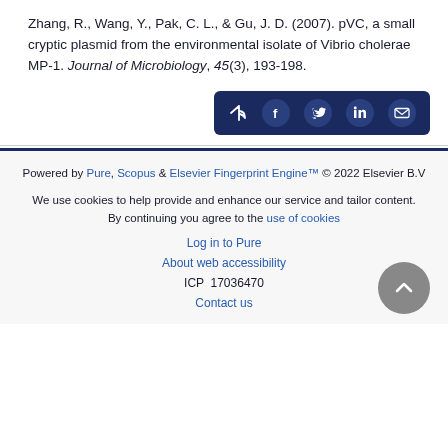Zhang, R., Wang, Y., Pak, C. L., & Gu, J. D. (2007). pVC, a small cryptic plasmid from the environmental isolate of Vibrio cholerae MP-1. Journal of Microbiology, 45(3), 193-198.
[Figure (other): Social share button bar with icons for share, Facebook, Twitter, LinkedIn, and email on a dark navy background]
Powered by Pure, Scopus & Elsevier Fingerprint Engine™ © 2022 Elsevier B.V
We use cookies to help provide and enhance our service and tailor content. By continuing you agree to the use of cookies
Log in to Pure
About web accessibility
ICP 17036470
Contact us